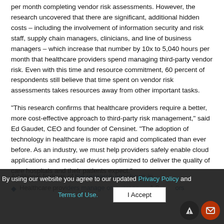per month completing vendor risk assessments. However, the research uncovered that there are significant, additional hidden costs – including the involvement of information security and risk staff, supply chain managers, clinicians, and line of business managers – which increase that number by 10x to 5,040 hours per month that healthcare providers spend managing third-party vendor risk. Even with this time and resource commitment, 60 percent of respondents still believe that time spent on vendor risk assessments takes resources away from other important tasks.
“This research confirms that healthcare providers require a better, more cost-effective approach to third-party risk management,” said Ed Gaudet, CEO and founder of Censinet. “The adoption of technology in healthcare is more rapid and complicated than ever before. As an industry, we must help providers safely enable cloud applications and medical devices optimized to deliver the quality of care hospitals and their patients expect.”
Additional findings of the research are shown in the page.
Healthcare providers manage on average 1,3__ vendors